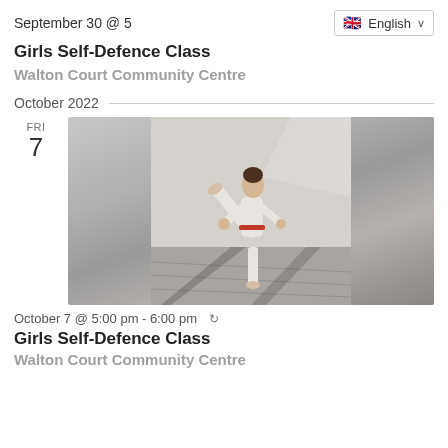September 30 @ 5
🇬🇧 English ∨
Girls Self-Defence Class
Walton Court Community Centre
October 2022
FRI 7
[Figure (photo): A girl in white martial arts uniform performing a high kick in a light grey room with wooden floor, shadows cast on the floor.]
October 7 @ 5:00 pm - 6:00 pm ↻
Girls Self-Defence Class
Walton Court Community Centre